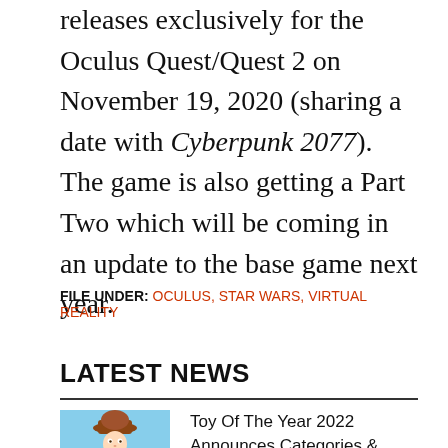Star Wars: Tales From the Galaxy's Edge releases exclusively for the Oculus Quest/Quest 2 on November 19, 2020 (sharing a date with Cyberpunk 2077). The game is also getting a Part Two which will be coming in an update to the base game next year.
FILE UNDER: OCULUS, STAR WARS, VIRTUAL REALITY
LATEST NEWS
Toy Of The Year 2022 Announces Categories & Nominees